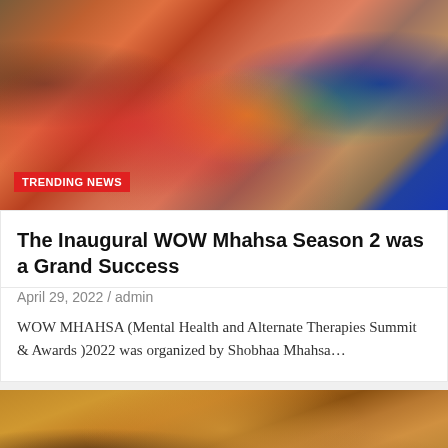[Figure (photo): Group photo of colorful costumed people at an event with a sign reading 'Welcomes' and Hindi text in background, with a red 'TRENDING NEWS' badge overlay]
The Inaugural WOW Mhahsa Season 2 was a Grand Success
April 29, 2022 / admin
WOW MHAHSA (Mental Health and Alternate Therapies Summit & Awards )2022 was organized by Shobhaa Mhahsa…
[Figure (photo): Illustrated or CGI warrior figure wearing a yellow/golden turban and chain mail armor, set against a warm orange/brown background]